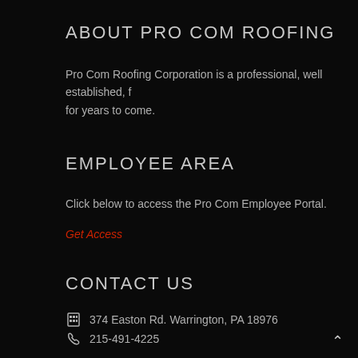ABOUT PRO COM ROOFING
Pro Com Roofing Corporation is a professional, well established, f for years to come.
EMPLOYEE AREA
Click below to access the Pro Com Employee Portal.
Get Access
CONTACT US
374 Easton Rd. Warrington, PA 18976
215-491-4225